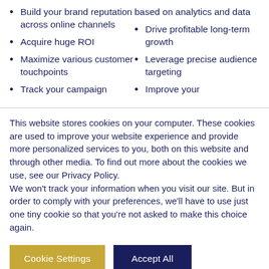Build your brand reputation across online channels
Acquire huge ROI
Maximize various customer touchpoints
Track your campaign
based on analytics and data
Drive profitable long-term growth
Leverage precise audience targeting
Improve your
This website stores cookies on your computer. These cookies are used to improve your website experience and provide more personalized services to you, both on this website and through other media. To find out more about the cookies we use, see our Privacy Policy.
We won't track your information when you visit our site. But in order to comply with your preferences, we'll have to use just one tiny cookie so that you're not asked to make this choice again.
Cookie Settings
Accept All